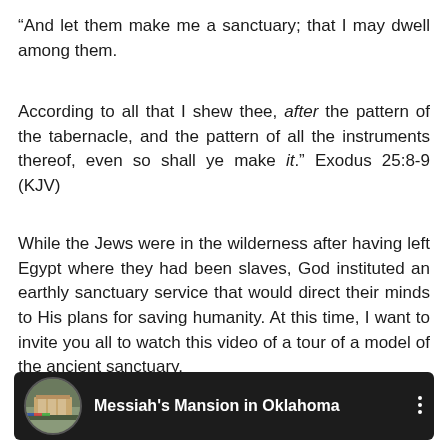“And let them make me a sanctuary; that I may dwell among them.
According to all that I shew thee, after the pattern of the tabernacle, and the pattern of all the instruments thereof, even so shall ye make it.” Exodus 25:8-9 (KJV)
While the Jews were in the wilderness after having left Egypt where they had been slaves, God instituted an earthly sanctuary service that would direct their minds to His plans for saving humanity. At this time, I want to invite you all to watch this video of a tour of a model of the ancient sanctuary.
[Figure (screenshot): YouTube video thumbnail showing Messiah's Mansion in Oklahoma with a circular thumbnail image on the left and the video title text on a dark background.]